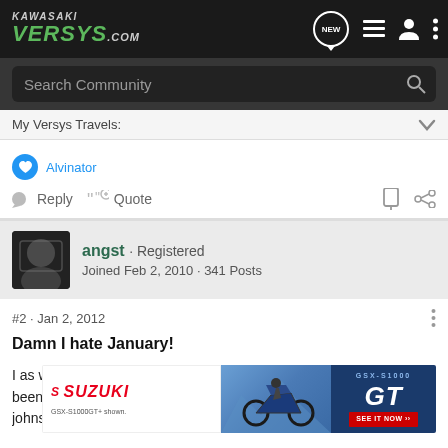KAWASAKI VERSYS.com
Search Community
My Versys Travels:
Alvinator
Reply  Quote
angst · Registered
Joined Feb 2, 2010 · 341 Posts
#2 · Jan 2, 2012
Damn I hate January!
I as well went out for a spin. It has been windier than it has been co [ad overlay] y long johns to [ad overlay] still a
[Figure (screenshot): Suzuki GSX-S1000 GT advertisement banner overlaying the bottom of the post content]